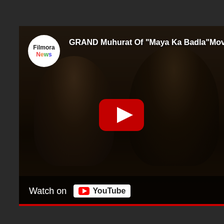[Figure (screenshot): YouTube video thumbnail embed showing two men in a dark scene, with a Filmora News channel logo circle, video title 'GRAND Muhurat Of "Maya Ka Badla" Movie Wi...' partially visible, a YouTube play button in the center, and a 'Watch on YouTube' badge at the bottom.]